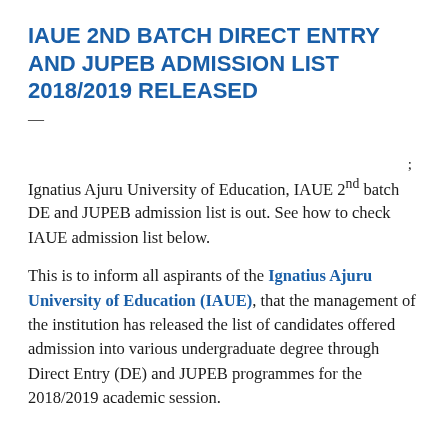IAUE 2ND BATCH DIRECT ENTRY AND JUPEB ADMISSION LIST 2018/2019 RELEASED
Ignatius Ajuru University of Education, IAUE 2nd batch DE and JUPEB admission list is out. See how to check IAUE admission list below.
This is to inform all aspirants of the Ignatius Ajuru University of Education (IAUE), that the management of the institution has released the list of candidates offered admission into various undergraduate degree through Direct Entry (DE) and JUPEB programmes for the 2018/2019 academic session.